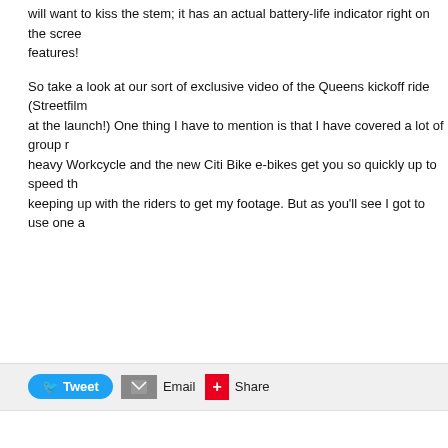will want to kiss the stem; it has an actual battery-life indicator right on the screen features!
So take a look at our sort of exclusive video of the Queens kickoff ride (Streetfilms at the launch!) One thing I have to mention is that I have covered a lot of group r heavy Workcycle and the new Citi Bike e-bikes get you so quickly up to speed th keeping up with the riders to get my footage. But as you'll see I got to use one a
[Figure (infographic): Social share buttons: Tweet (blue), Email (grey), Share (red)]
via STREETFILMS ↗   Tuesday, January 2, 2018
Highlights from NOLA: Riding Blue Bikes, Fixing Transit & Ground"
by
[Figure (screenshot): Video thumbnail showing 'Crusing around New Orleans on Blue Bikes & Mo']